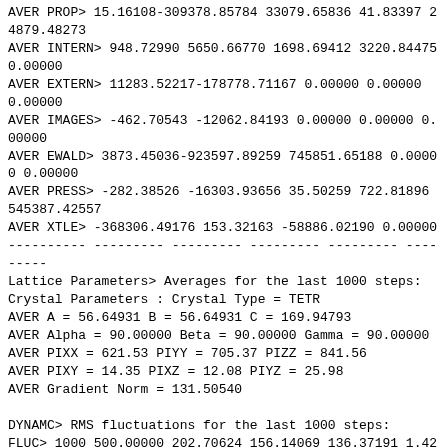AVER PROP> 15.16108-309378.85784 33079.65836 41.83397 24879.48273
AVER INTERN> 948.72990 5650.66770 1698.69412 3220.84475 0.00000
AVER EXTERN> 11283.52217-178778.71167 0.00000 0.00000 0.00000
AVER IMAGES> -462.70543 -12062.84193 0.00000 0.00000 0.00000
AVER EWALD> 3873.45036-923597.89259 745851.65188 0.00000 0.00000
AVER PRESS> -282.38526 -16303.93656 35.50259 722.81896 545387.42557
AVER XTLE> -368306.49176 153.32163 -58886.02190 0.00000
---------- --------- --------- --------- --------- ---------
Lattice Parameters> Averages for the last 1000 steps:
Crystal Parameters : Crystal Type = TETR
AVER A = 56.64931 B = 56.64931 C = 169.94793
AVER Alpha = 90.00000 Beta = 90.00000 Gamma = 90.00000
AVER PIXX = 621.53 PIYY = 705.37 PIZZ = 841.56
AVER PIXY = 14.35 PIXZ = 12.08 PIYZ = 25.98
AVER Gradient Norm = 131.50540

DYNAMC> RMS fluctuations for the last 1000 steps:
FLUC> 1000 500.00000 202.70624 156.14069 136.37191 1.42141
FLUC PROP> 0.02485 202.67565 156.17100 1.97441 8450.95156
FLUC INTERN> 19.11851 43.37358 14.50939 19.62384 0.00000
FLUC EXTERN> 105.98455 129.18750 0.00000 0.00000 0.00000
FLUC IMAGES> 68.14824 127.40136 0.00000 0.00000 0.00000
FLUC EWALD> 21.81447 0.00000 2.90894 0.00000 0.00000